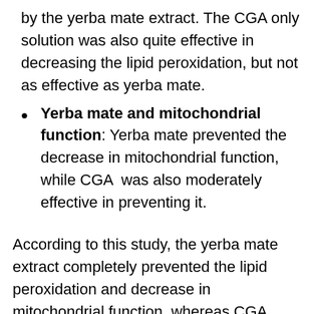by the yerba mate extract. The CGA only solution was also quite effective in decreasing the lipid peroxidation, but not as effective as yerba mate.
Yerba mate and mitochondrial function: Yerba mate prevented the decrease in mitochondrial function, while CGA  was also moderately effective in preventing it.
According to this study, the yerba mate extract completely prevented the lipid peroxidation and decrease in mitochondrial function, whereas CGA alone was only moderately effective. The higher effectiveness of the yerba mate extract could be attributed to the synergic effect of